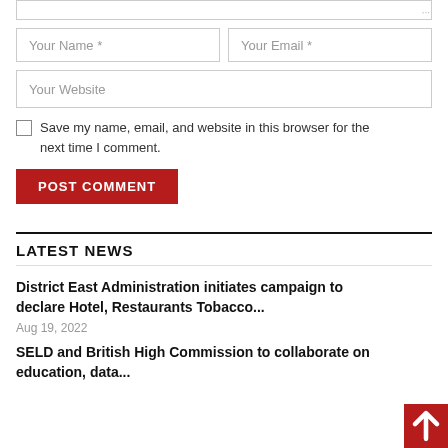[Figure (screenshot): Comment form textarea (top portion, cropped)]
Your Name *
Your Email *
Your Website
Save my name, email, and website in this browser for the next time I comment.
POST COMMENT
LATEST NEWS
District East Administration initiates campaign to declare Hotel, Restaurants Tobacco...
Aug 19, 2022
SELD and British High Commission to collaborate on education, data...